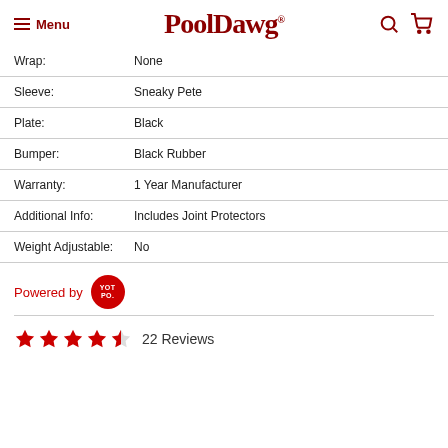Menu | PoolDawg
| Attribute | Value |
| --- | --- |
| Wrap: | None |
| Sleeve: | Sneaky Pete |
| Plate: | Black |
| Bumper: | Black Rubber |
| Warranty: | 1 Year Manufacturer |
| Additional Info: | Includes Joint Protectors |
| Weight Adjustable: | No |
Powered by YOTPO
22 Reviews